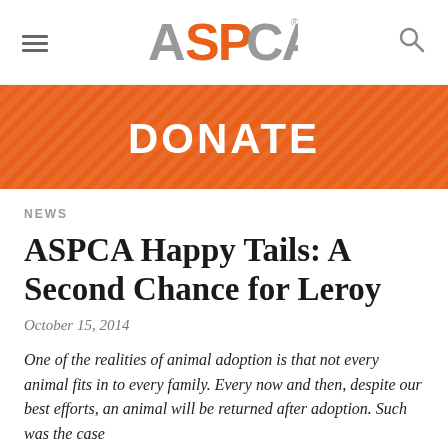ASPCA
[Figure (logo): ASPCA logo in gray with orange 'SP' letters, hamburger menu icon on left, search icon on right]
DONATE
NEWS
ASPCA Happy Tails: A Second Chance for Leroy
October 15, 2014
One of the realities of animal adoption is that not every animal fits in to every family. Every now and then, despite our best efforts, an animal will be returned after adoption. Such was the case